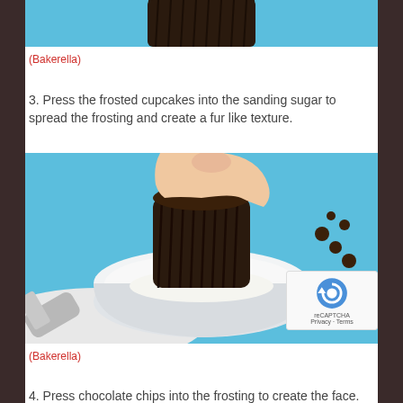[Figure (photo): Top portion of a cupcake with dark chocolate liner on a blue background, partially cropped at top]
(Bakerella)
3. Press the frosted cupcakes into the sanding sugar to spread the frosting and create a fur like texture.
[Figure (photo): Hand pressing an upside-down chocolate cupcake into a white bowl of white sanding sugar on a blue background]
(Bakerella)
4. Press chocolate chips into the frosting to create the face. One should